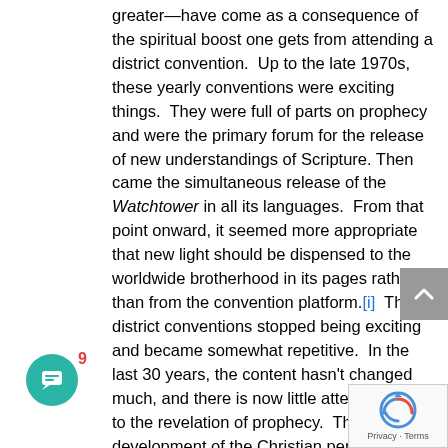greater—have come as a consequence of the spiritual boost one gets from attending a district convention.  Up to the late 1970s, these yearly conventions were exciting things.  They were full of parts on prophecy and were the primary forum for the release of new understandings of Scripture. Then came the simultaneous release of the Watchtower in all its languages.  From that point onward, it seemed more appropriate that new light should be dispensed to the worldwide brotherhood in its pages rather than from the convention platform.[i]  The district conventions stopped being exciting and became somewhat repetitive.  In the last 30 years, the content hasn't changed much, and there is now little attention given to the revelation of prophecy.  The development of the Christian personality and adherence to our code of conduct are the dominant themes these days.  There is no great depth of Scriptural study and while some of older ones miss the 'good old days' of deeper stud we are content to benefit from the uplifting atmosphere that develops as a  consequence of